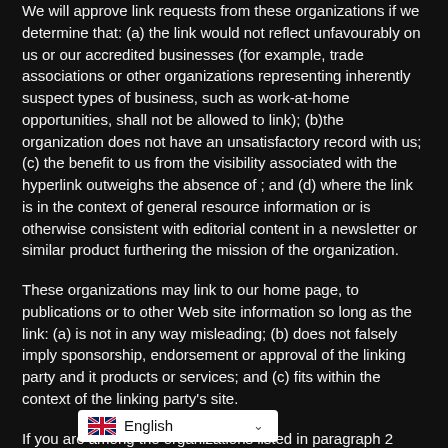We will approve link requests from these organizations if we determine that: (a) the link would not reflect unfavourably on us or our accredited businesses (for example, trade associations or other organizations representing inherently suspect types of business, such as work-at-home opportunities, shall not be allowed to link); (b)the organization does not have an unsatisfactory record with us; (c) the benefit to us from the visibility associated with the hyperlink outweighs the absence of ; and (d) where the link is in the context of general resource information or is otherwise consistent with editorial content in a newsletter or similar product furthering the mission of the organization.
These organizations may link to our home page, to publications or to other Web site information so long as the link: (a) is not in any way misleading; (b) does not falsely imply sponsorship, endorsement or approval of the linking party and it products or services; and (c) fits within the context of the linking party's site.
If you are among the organizations listed in paragraph 2 above and are interested in linking to our website, you must notify us by artisanantiques.net. Please include